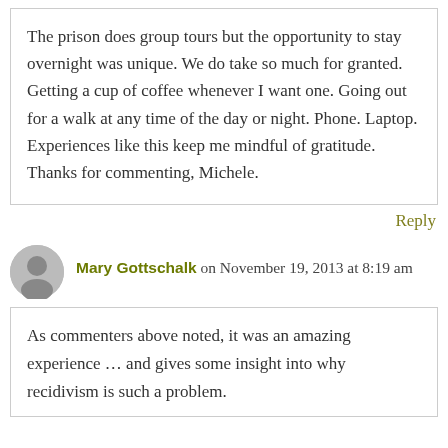The prison does group tours but the opportunity to stay overnight was unique. We do take so much for granted. Getting a cup of coffee whenever I want one. Going out for a walk at any time of the day or night. Phone. Laptop. Experiences like this keep me mindful of gratitude. Thanks for commenting, Michele.
Reply
Mary Gottschalk on November 19, 2013 at 8:19 am
As commenters above noted, it was an amazing experience … and gives some insight into why recidivism is such a problem.